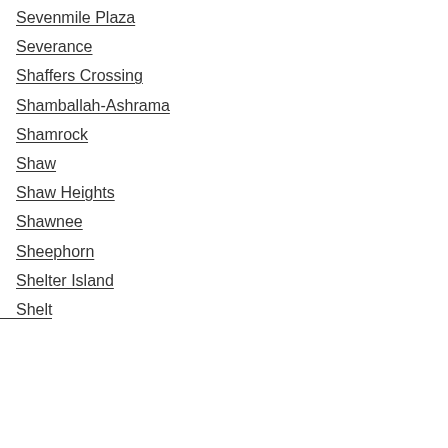Sevenmile Plaza
Severance
Shaffers Crossing
Shamballah-Ashrama
Shamrock
Shaw
Shaw Heights
Shawnee
Sheephorn
Shelter Island
Shelt…